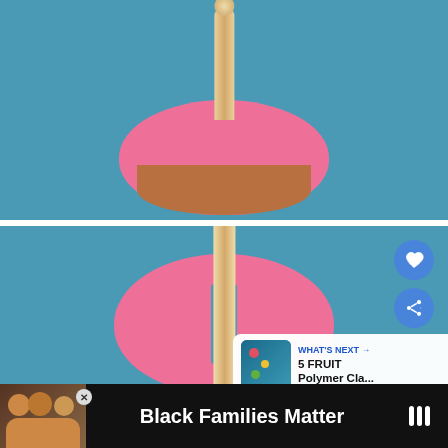[Figure (photo): Close-up photo of a pink polymer clay ball with a beige/cream stick inserted into the top, on a blue background. Shows the lollipop-style stick with a small ball on top pressed into the center of the pink clay.]
[Figure (photo): Close-up photo of a pink polymer clay donut/ring shape with a beige lollipop stick inserted through the hole, on a blue background. Overlay icons include a heart (save) and share button. A 'What's Next' panel shows a thumbnail with text '5 FRUIT Polymer Cla...']
WHAT'S NEXT → 5 FRUIT Polymer Cla...
Black Families Matter